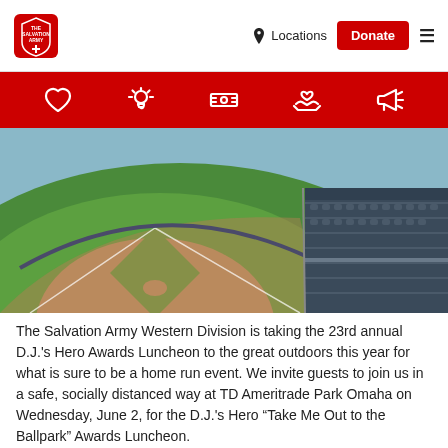[Figure (screenshot): Salvation Army website navigation bar with logo, Locations link, red Donate button, and hamburger menu]
[Figure (screenshot): Red icon bar with white icons: heart, lightbulb, dollar bill, hands holding heart, megaphone]
[Figure (photo): Aerial view of a baseball stadium showing the infield, outfield grass, dirt infield, and rows of blue stadium seats]
The Salvation Army Western Division is taking the 23rd annual D.J.'s Hero Awards Luncheon to the great outdoors this year for what is sure to be a home run event. We invite guests to join us in a safe, socially distanced way at TD Ameritrade Park Omaha on Wednesday, June 2, for the D.J.'s Hero “Take Me Out to the Ballpark” Awards Luncheon.
Festivities begin at 10:15 a.m. with a special “pregame” appearance by 2015 World Series champion, eight-time Gold Glove winner and three-time MLB All-Star Alex Gordon. The former Kansas City Royals and Nebraska Cornhuskers standout will sign autographs and hold a Q & A session.